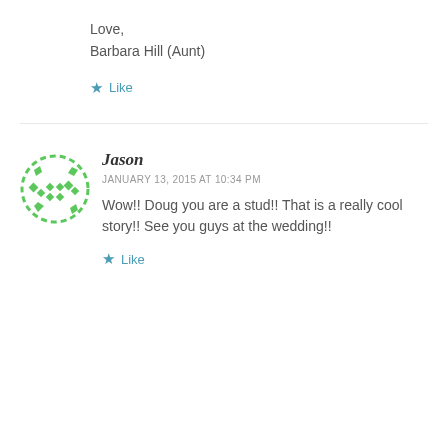Love,
Barbara Hill (Aunt)
Like
Jason
JANUARY 13, 2015 AT 10:34 PM
Wow!! Doug you are a stud!! That is a really cool story!! See you guys at the wedding!!
Like